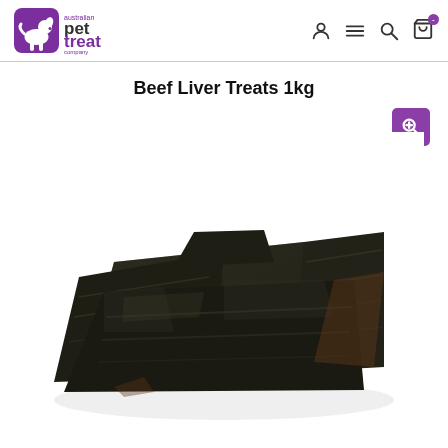[Figure (logo): Australian Pet Treat Company logo — purple rounded square with dog silhouette, text 'australian pet treat company' in purple]
Beef Liver Treats 1kg
[Figure (photo): Multiple pieces of dark brown/black dried beef liver treats stacked on a white background]